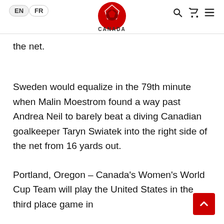EN FR — Canada Soccer Logo — search, cart, menu icons
the net.
Sweden would equalize in the 79th minute when Malin Moestrom found a way past Andrea Neil to barely beat a diving Canadian goalkeeper Taryn Swiatek into the right side of the net from 16 yards out.
Portland, Oregon – Canada's Women's World Cup Team will play the United States in the third place game in